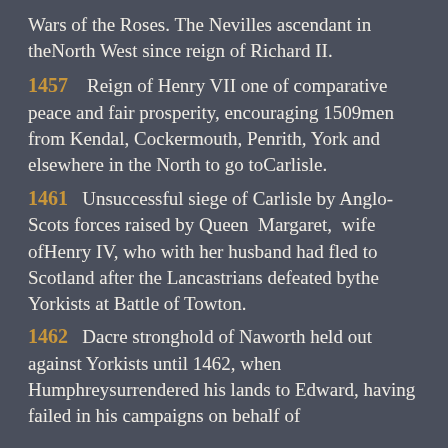Wars of the Roses. The Nevilles ascendant in theNorth West since reign of Richard II.
1457    Reign of Henry VII one of comparative peace and fair prosperity, encouraging 1509men from Kendal, Cockermouth, Penrith, York and elsewhere in the North to go toCarlisle.
1461    Unsuccessful siege of Carlisle by Anglo-Scots forces raised by Queen  Margaret,  wife ofHenry IV, who with her husband had fled to Scotland after the Lancastrians defeated bythe Yorkists at Battle of Towton.
1462    Dacre stronghold of Naworth held out against Yorkists until 1462, when Humphreysurrendered his lands to Edward, having failed in his campaigns on behalf of